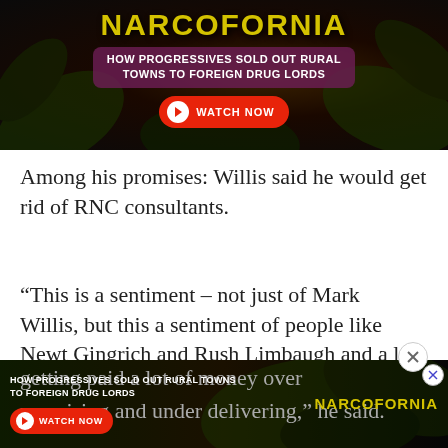[Figure (screenshot): Advertisement banner for 'Narcofornia' documentary. Dark background with cannabis leaves. Title 'NARCOFORNIA' in yellow lettering. Purple box contains text 'HOW PROGRESSIVES SOLD OUT RURAL TOWNS TO FOREIGN DRUG LORDS'. Red 'WATCH NOW' button with play icon.]
Among his promises: Willis said he would get rid of RNC consultants.
“This is a sentiment – not just of Mark Willis, but this a sentiment of people like Newt Gingrich and Rush Limbaugh and a lot of people from the grassroots as well – saying these consultants are getting paid a lot of money over promising and under delivering,” he said.
[Figure (screenshot): Second advertisement banner for 'Narcofornia' documentary overlapping the article text at the bottom. Shows 'HOW PROGRESSIVES SOLD OUT RURAL TOWNS TO FOREIGN DRUG LORDS' text, WATCH NOW button, and NARCOFORNIA logo with cannabis leaf imagery.]